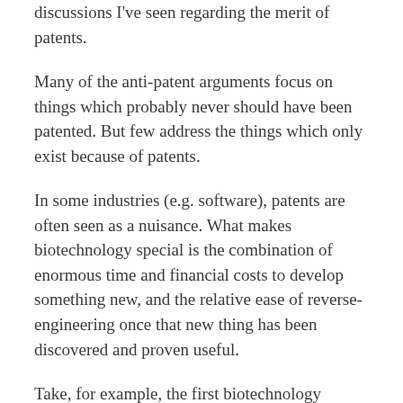discussions I've seen regarding the merit of patents.
Many of the anti-patent arguments focus on things which probably never should have been patented. But few address the things which only exist because of patents.
In some industries (e.g. software), patents are often seen as a nuisance. What makes biotechnology special is the combination of enormous time and financial costs to develop something new, and the relative ease of reverse-engineering once that new thing has been discovered and proven useful.
Take, for example, the first biotechnology patent: Diamond v. Chakrabarty – Wikipedia (this is the Supreme Court case that determined that you could patent biotechnology inventions).
In a nutshell, a researcher produced bacteria which could be sprayed on oil spills and break down the oil. As part of